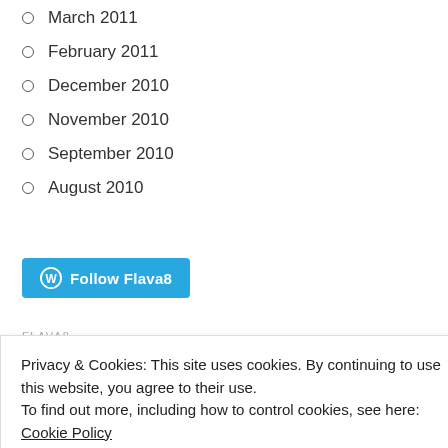March 2011
February 2011
December 2010
November 2010
September 2010
August 2010
[Figure (other): Follow Flava8 WordPress follow button in blue]
FLAVA8
Colombo, Sri Lanka
Privacy & Cookies: This site uses cookies. By continuing to use this website, you agree to their use.
To find out more, including how to control cookies, see here: Cookie Policy
Close and accept